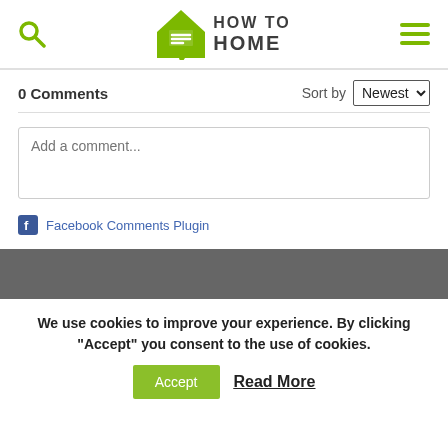[Figure (logo): How To Home logo with house icon and text]
0 Comments
Sort by Newest
Add a comment...
Facebook Comments Plugin
We use cookies to improve your experience. By clicking "Accept" you consent to the use of cookies.
Accept
Read More